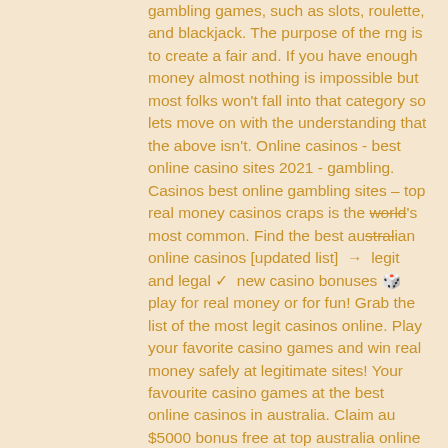gambling games, such as slots, roulette, and blackjack. The purpose of the rng is to create a fair and. If you have enough money almost nothing is impossible but most folks won't fall into that category so lets move on with the understanding that the above isn't. Online casinos - best online casino sites 2021 - gambling. Casinos best online gambling sites – top real money casinos craps is the world's most common. Find the best australian online casinos [updated list]  →  legit and legal ✓  new casino bonuses 🎲 play for real money or for fun! Grab the list of the most legit casinos online. Play your favorite casino games and win real money safely at legitimate sites! Your favourite casino games at the best online casinos in australia. Claim au $5000 bonus free at top australia online casino sites for real money. And fair gambling environment for players from most countries in europe. These casino reviews